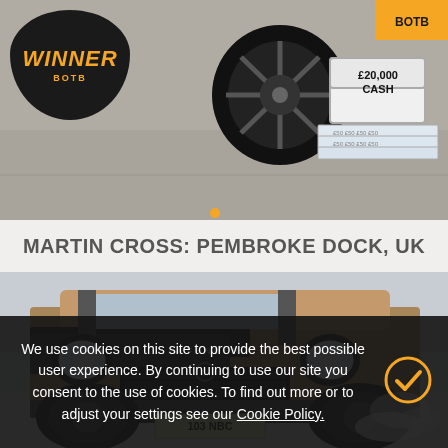[Figure (photo): Winner announcement photo: dark oval BOTB winner board with orange 'WINNER' text and BOTB logo, car wheel, suitcase with £20,000 CASH label and stacks of banknotes on tarmac]
MARTIN CROSS: PEMBROKE DOCK, UK
[Figure (photo): Land Rover Defender driving through snow, front-on view, gold/bronze color, license plate 103 NBC]
We use cookies on this site to provide the best possible user experience. By continuing to use our site you consent to the use of cookies. To find out more or to adjust your settings see our Cookie Policy.